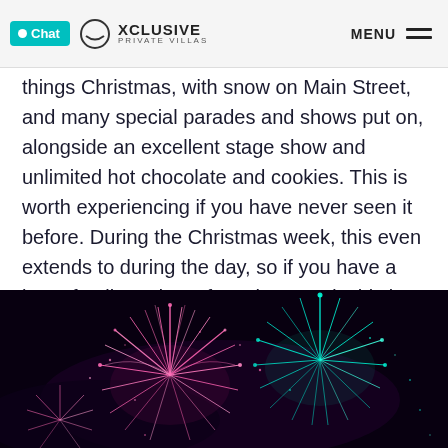Chat XCLUSIVE PRIVATE VILLAS  MENU
things Christmas, with snow on Main Street, and many special parades and shows put on, alongside an excellent stage show and unlimited hot chocolate and cookies. This is worth experiencing if you have never seen it before. During the Christmas week, this even extends to during the day, so if you have a large family and can face the crowds this is a time to see it for free.
[Figure (photo): Fireworks display against a dark night sky, featuring pink and teal/blue fireworks bursting in the air.]